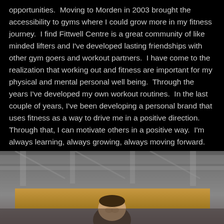opportunities.  Moving to Morden in 2003 brought the accessibility to gyms where I could grow more in my fitness journey.  I find Fittwell Centre is a great community of like minded lifters and I've developed lasting friendships with other gym goers and workout partners.  I have come to the realization that working out and fitness are important for my physical and mental personal well being.  Through the years I've developed my own workout routines.  In the last couple of years, I've been developing a personal brand that uses fitness as a way to drive me in a positive direction.  Through that, I can motivate others in a positive way.  I'm always learning, always growing, always moving forward.
[Figure (photo): A person photographed from above in a gym setting, with concrete ceiling/structural beams visible overhead and a yellow/gold wall behind them. The subject appears to be a man with short dark hair looking up toward the camera.]